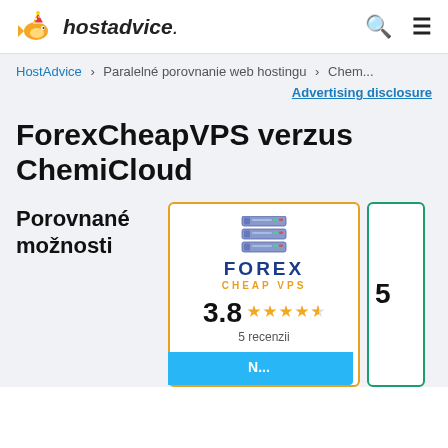hostadvice.
HostAdvice › Paralelné porovnanie web hostingu › Chem...
Advertising disclosure
ForexCheapVPS verzus ChemiCloud
Porovnané možnosti
[Figure (screenshot): ForexCheapVPS provider card with logo, 3.8 star rating and 5 recenzii]
3.8   5 recenzii